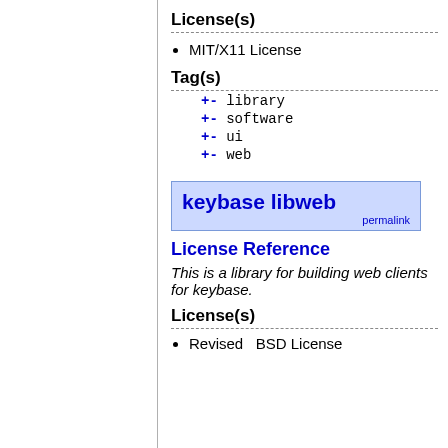License(s)
MIT/X11 License
Tag(s)
+- library
+- software
+- ui
+- web
keybase libweb permalink
License Reference
This is a library for building web clients for keybase.
License(s)
Revised BSD License